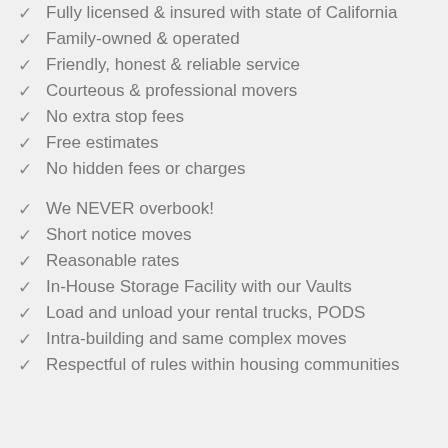Fully licensed & insured with state of California
Family-owned & operated
Friendly, honest & reliable service
Courteous & professional movers
No extra stop fees
Free estimates
No hidden fees or charges
We NEVER overbook!
Short notice moves
Reasonable rates
In-House Storage Facility with our Vaults
Load and unload your rental trucks, PODS
Intra-building and same complex moves
Respectful of rules within housing communities